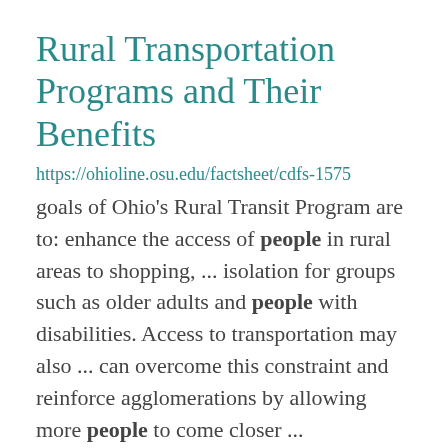Rural Transportation Programs and Their Benefits
https://ohioline.osu.edu/factsheet/cdfs-1575 goals of Ohio's Rural Transit Program are to: enhance the access of people in rural areas to shopping, ... isolation for groups such as older adults and people with disabilities. Access to transportation may also ... can overcome this constraint and reinforce agglomerations by allowing more people to come closer ...
Using Hay Harvesting Equipment Safely